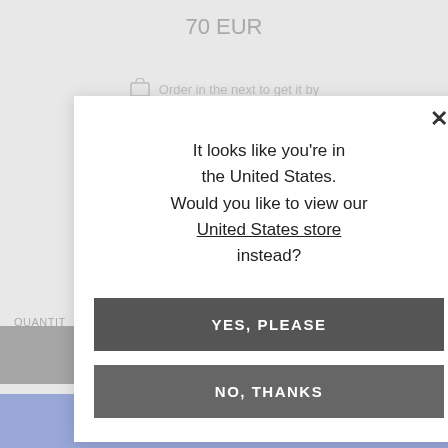70 EUR
Order in the next to get it by
QUANTITY
1
[Figure (screenshot): Modal dialog with close button (x), text asking if the user wants to view the United States store, two buttons: YES PLEASE and NO THANKS]
ADD TO CART
Spend 60 EUR to Free Shipping